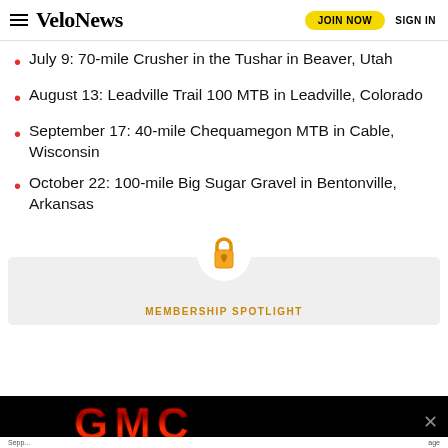VeloNews | JOIN NOW | SIGN IN
July 9: 70-mile Crusher in the Tushar in Beaver, Utah
August 13: Leadville Trail 100 MTB in Leadville, Colorado
September 17: 40-mile Chequamegon MTB in Cable, Wisconsin
October 22: 100-mile Big Sugar Gravel in Bentonville, Arkansas
[Figure (infographic): Paywall lock icon with yellow padlock emoji above a light gray membership spotlight box]
MEMBERSHIP SPOTLIGHT
[Figure (logo): GMC advertisement banner with red GMC logo on black background]